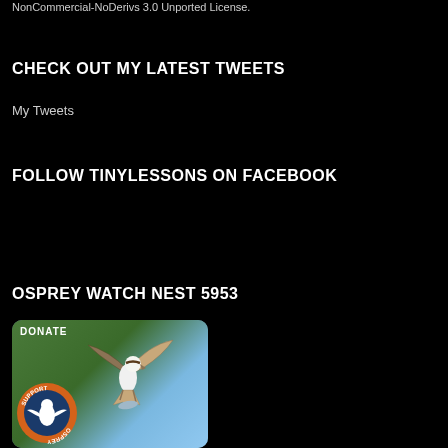NonCommercial-NoDerivs 3.0 Unported License.
CHECK OUT MY LATEST TWEETS
My Tweets
FOLLOW TINYLESSONS ON FACEBOOK
OSPREY WATCH NEST 5953
[Figure (illustration): Osprey Watch Nest 5953 donate card with an osprey bird in flight over green foliage and blue sky, with a circular orange Support Osprey badge in the lower left corner and a DONATE label in the upper left.]